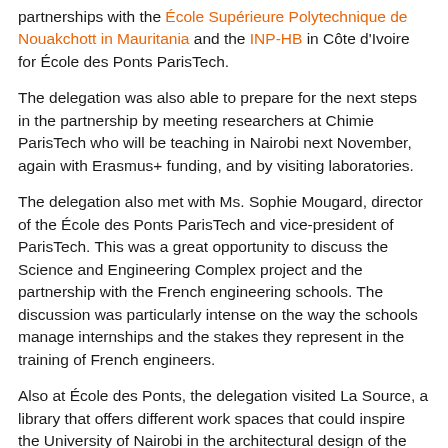partnerships with the École Supérieure Polytechnique de Nouakchott in Mauritania and the INP-HB in Côte d'Ivoire for École des Ponts ParisTech.
The delegation was also able to prepare for the next steps in the partnership by meeting researchers at Chimie ParisTech who will be teaching in Nairobi next November, again with Erasmus+ funding, and by visiting laboratories.
The delegation also met with Ms. Sophie Mougard, director of the École des Ponts ParisTech and vice-president of ParisTech. This was a great opportunity to discuss the Science and Engineering Complex project and the partnership with the French engineering schools. The discussion was particularly intense on the way the schools manage internships and the stakes they represent in the training of French engineers.
Also at École des Ponts, the delegation visited La Source, a library that offers different work spaces that could inspire the University of Nairobi in the architectural design of the Science and Engineering Complex. The delegation also met